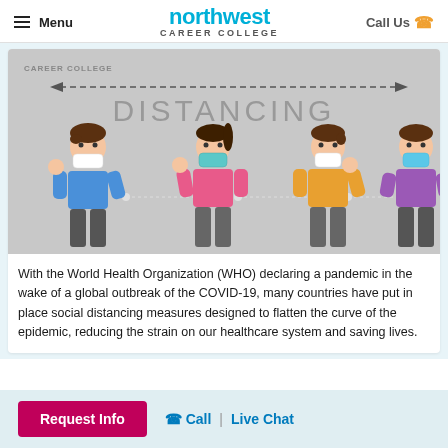Menu | northwest CAREER COLLEGE | Call Us
[Figure (illustration): Social distancing illustration showing four cartoon people wearing face masks spaced apart, with dashed arrows indicating distance. Text 'DISTANCING' in large gray letters at top. 'CAREER COLLEGE' watermark in top left corner.]
With the World Health Organization (WHO) declaring a pandemic in the wake of a global outbreak of the COVID-19, many countries have put in place social distancing measures designed to flatten the curve of the epidemic, reducing the strain on our healthcare system and saving lives.
Request Info | Call | Live Chat